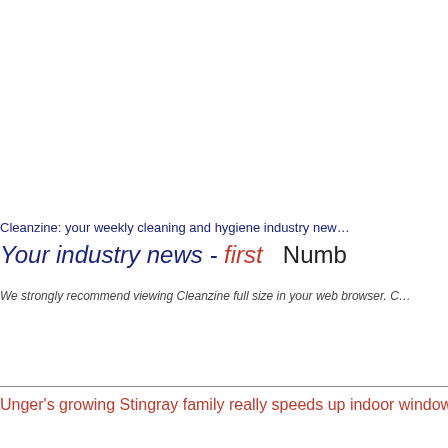Cleanzine: your weekly cleaning and hygiene industry new...
Your industry news - first   Numb...
We strongly recommend viewing Cleanzine full size in your web browser. C...
Unger's growing Stingray family really speeds up indoor window cleaning